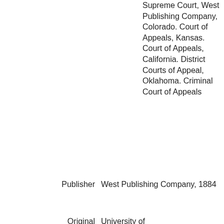Supreme Court, West Publishing Company, Colorado. Court of Appeals, Kansas. Court of Appeals, California. District Courts of Appeal, Oklahoma. Criminal Court of Appeals
Publisher
West Publishing Company, 1884
Original
University of